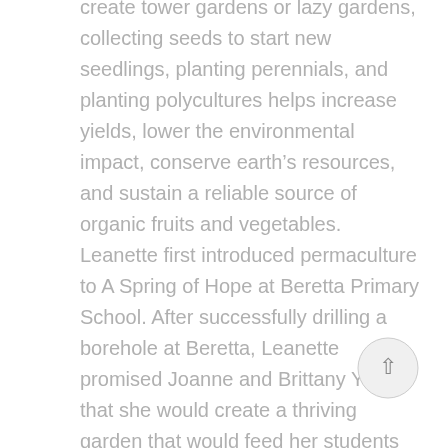create tower gardens or lazy gardens, collecting seeds to start new seedlings, planting perennials, and planting polycultures helps increase yields, lower the environmental impact, conserve earth's resources, and sustain a reliable source of organic fruits and vegetables.
Leanette first introduced permaculture to A Spring of Hope at Beretta Primary School. After successfully drilling a borehole at Beretta, Leanette promised Joanne and Brittany Young that she would create a thriving garden that would feed her students and her community without using large amounts of water and resources. Leanette